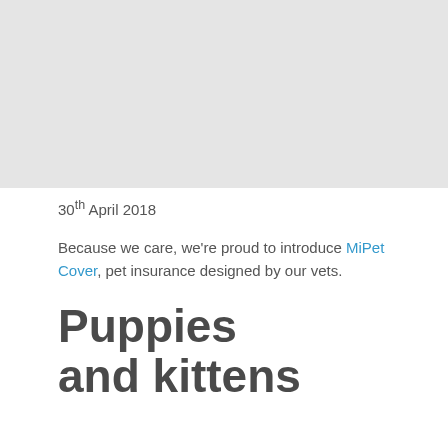[Figure (other): Large light gray rectangular image placeholder occupying the top portion of the page]
30th April 2018
Because we care, we're proud to introduce MiPet Cover, pet insurance designed by our vets.
Puppies and kittens